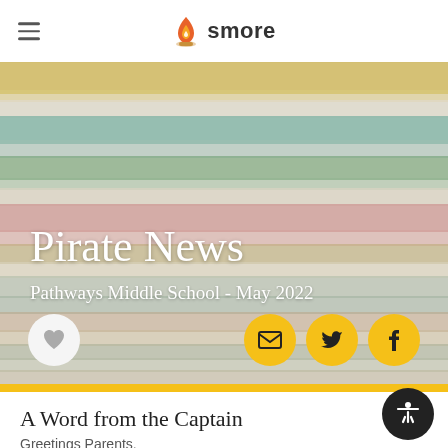smore
[Figure (illustration): Colorful horizontal watercolor stripes banner image with pastel colors including yellow, teal, green, pink, and tan]
Pirate News
Pathways Middle School - May 2022
A Word from the Captain
Greetings Parents,